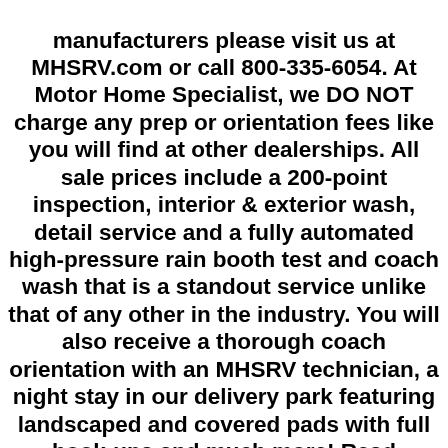manufacturers please visit us at MHSRV.com or call 800-335-6054. At Motor Home Specialist, we DO NOT charge any prep or orientation fees like you will find at other dealerships. All sale prices include a 200-point inspection, interior & exterior wash, detail service and a fully automated high-pressure rain booth test and coach wash that is a standout service unlike that of any other in the industry. You will also receive a thorough coach orientation with an MHSRV technician, a night stay in our delivery park featuring landscaped and covered pads with full hook-ups and much more! Read Thousands upon Thousands of 5-Star Reviews at